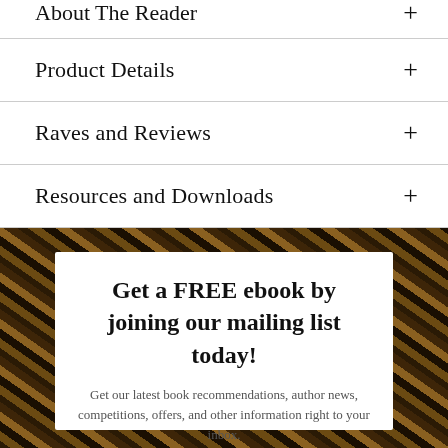About The Reader
Product Details
Raves and Reviews
Resources and Downloads
[Figure (infographic): Promotional banner with decorative dark braided/hair background and white inner box. Contains heading 'Get a FREE ebook by joining our mailing list today!' and subtext 'Get our latest book recommendations, author news, competitions, offers, and other information right to your inbox.']